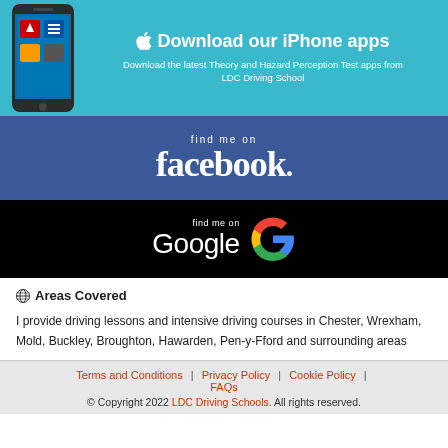[Figure (infographic): iPhone app download banner with phone image, Apple logo, headline 'Download our iPhone apps', and subtext about Theory and Hazard Perception Test apps from LDC Driving School]
[Figure (infographic): Facebook 'find me on facebook.' banner with blue background and Facebook wordmark]
[Figure (infographic): Google 'find me on Google' banner with black background and Google G logo]
Areas Covered
I provide driving lessons and intensive driving courses in Chester, Wrexham, Mold, Buckley, Broughton, Hawarden, Pen-y-Fford and surrounding areas
Terms and Conditions | Privacy Policy | Cookie Policy | FAQs
© Copyright 2022 LDC Driving Schools. All rights reserved.